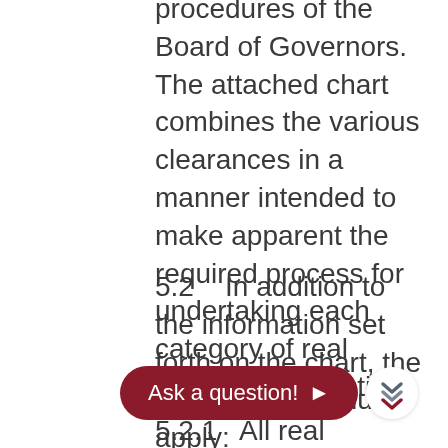procedures of the Board of Governors. The attached chart combines the various clearances in a manner intended to make apparent the required process for undertaking each category of real property transaction.
5.2    In addition to the information set forth on the chart, the following procedures apply:
5.2.1    All real property transactions require approval beyond the campus